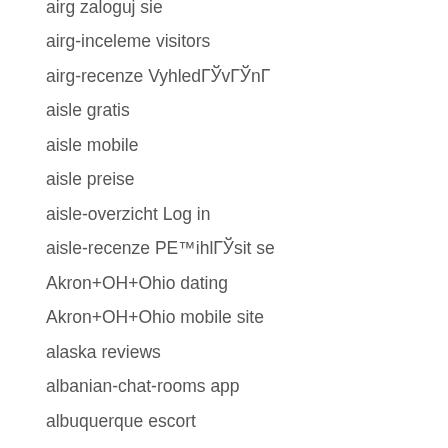airg zaloguj sie
airg-inceleme visitors
airg-recenze VyhledГЎvГЎnГ
aisle gratis
aisle mobile
aisle preise
aisle-overzicht Log in
aisle-recenze PE™ihlГЎsit se
Akron+OH+Ohio dating
Akron+OH+Ohio mobile site
alaska reviews
albanian-chat-rooms app
albuquerque escort
albuquerque escort near me
aldatmak-tarihleme hizmet